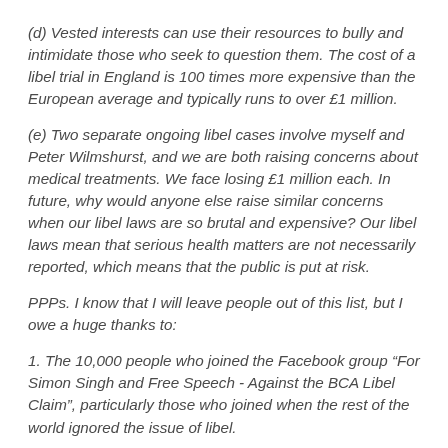(d) Vested interests can use their resources to bully and intimidate those who seek to question them. The cost of a libel trial in England is 100 times more expensive than the European average and typically runs to over £1 million.
(e) Two separate ongoing libel cases involve myself and Peter Wilmshurst, and we are both raising concerns about medical treatments. We face losing £1 million each. In future, why would anyone else raise similar concerns when our libel laws are so brutal and expensive? Our libel laws mean that serious health matters are not necessarily reported, which means that the public is put at risk.
PPPs. I know that I will leave people out of this list, but I owe a huge thanks to:
1. The 10,000 people who joined the Facebook group “For Simon Singh and Free Speech - Against the BCA Libel Claim”, particularly those who joined when the rest of the world ignored the issue of libel.